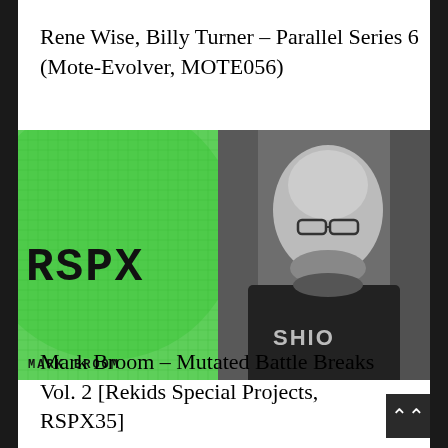Rene Wise, Billy Turner – Parallel Series 6 (Mote-Evolver, MOTE056)
[Figure (illustration): Left: Album art for RSPX (Mark Broom) - green circle on grid background with 'RSPX' text and 'MARK BROOM' label. Right: Black and white portrait photo of a bald man with beard and glasses wearing a hoodie with 'SHIO' text.]
Mark Broom – Mutated Battle Breaks Vol. 2 [Rekids Special Projects, RSPX35]